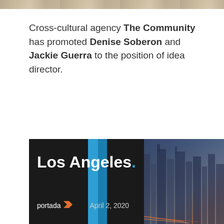[Figure (photo): Cropped top strip showing part of a photo, likely of two people]
Cross-cultural agency The Community has promoted Denise Soberon and Jackie Guerra to the position of idea director.
[Figure (infographic): Banner advertisement for 'Los Angeles. portada' event on April 2, 2020, with dark background on left side showing text and city skyline photo on right side]